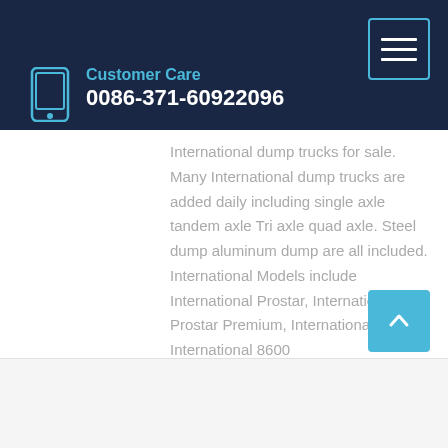Customer Care 0086-371-60922096
International dump trucks for sale. Many International dump trucks are added daily including single axle tandem axle Tri axle quad axle. Steel dump aluminum dump are all included. International Models include International Prostar, International Prostar Premium, International 4300, International 8600
Learn More